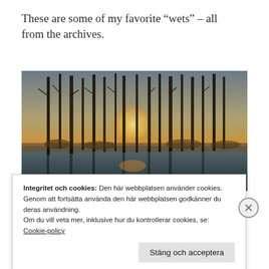These are some of my favorite “wets” – all from the archives.
[Figure (photo): Wetland scene with bare trees reflected in standing water, golden sunlight filtering through the trees at dusk or dawn, autumn/winter landscape.]
Integritet och cookies: Den här webbplatsen använder cookies. Genom att fortsätta använda den här webbplatsen godkänner du deras användning.
Om du vill veta mer, inklusive hur du kontrollerar cookies, se: Cookie-policy
Stäng och acceptera